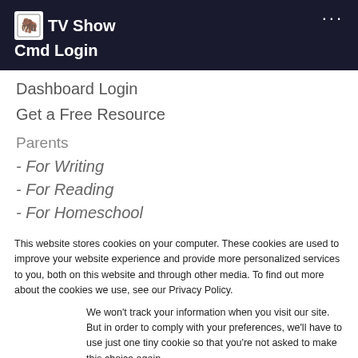TV Show Cmd Login
Dashboard Login
Get a Free Resource
Parents
- For Writing
- For Reading
- For Homeschool
This website stores cookies on your computer. These cookies are used to improve your website experience and provide more personalized services to you, both on this website and through other media. To find out more about the cookies we use, see our Privacy Policy.
We won't track your information when you visit our site. But in order to comply with your preferences, we'll have to use just one tiny cookie so that you're not asked to make this choice again.